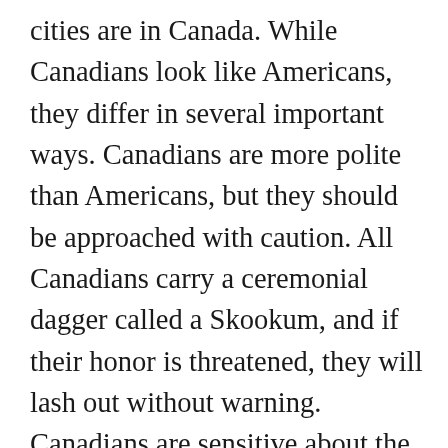cities are in Canada. While Canadians look like Americans, they differ in several important ways. Canadians are more polite than Americans, but they should be approached with caution. All Canadians carry a ceremonial dagger called a Skookum, and if their honor is threatened, they will lash out without warning. Canadians are sensitive about the small size of their country. It is unwise to discuss geography, maps, distances, or the metric system with a Canadian person. Canadians also have universal health care, which makes them fearless in the face of injury or death. Therefore, it is important not to engage in a physical altercation with a Canadian, because